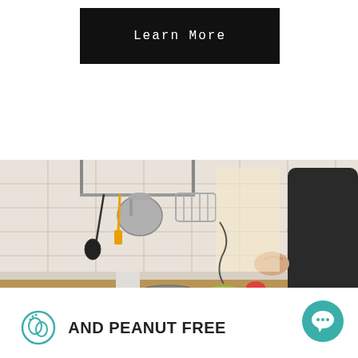[Figure (other): Black button with white text reading 'Learn More']
[Figure (photo): A person cooking in a kitchen with hanging utensils, pots, white tile backsplash, and vegetables on the counter]
[Figure (logo): Peanut/nut-free logo icon with text 'AND PEANUT FREE' in handwritten style uppercase font, and a teal chat bubble icon on the right]